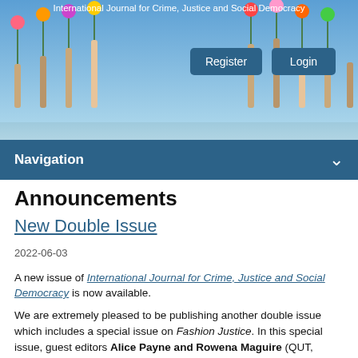International Journal for Crime, Justice and Social Democracy
[Figure (photo): Hands holding colourful flowers/tulips against a blue sky background, with Register and Login buttons overlaid]
Navigation
Announcements
New Double Issue
2022-06-03
A new issue of International Journal for Crime, Justice and Social Democracy is now available.
We are extremely pleased to be publishing another double issue which includes a special issue on Fashion Justice. In this special issue, guest editors Alice Payne and Rowena Maguire (QUT, Australia) bring together scholars that examine multiple perspectives on the numerous injustices experienced in the ways garments are produced, consumed and disposed of within the